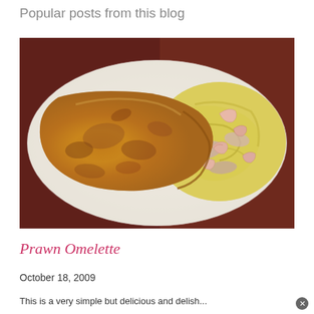Popular posts from this blog
[Figure (photo): A white plate containing a golden-brown prawn omelette, folded on the left side, with visible shrimp, onions, and scrambled egg filling on the right side, set against a dark reddish-brown background.]
Prawn Omelette
October 18, 2009
This is a very simple but delicious and delish...